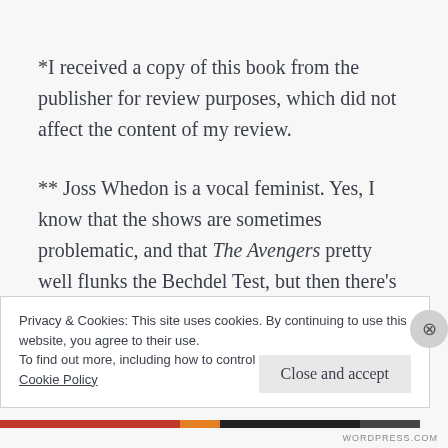*I received a copy of this book from the publisher for review purposes, which did not affect the content of my review.
** Joss Whedon is a vocal feminist. Yes, I know that the shows are sometimes problematic, and that The Avengers pretty well flunks the Bechdel Test, but then there's this, from a speech Joss
Privacy & Cookies: This site uses cookies. By continuing to use this website, you agree to their use.
To find out more, including how to control cookies, see here:
Cookie Policy
Close and accept